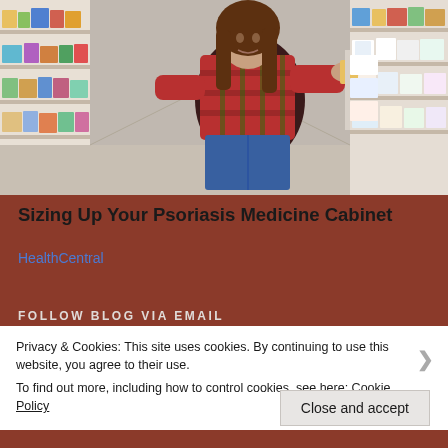[Figure (photo): Woman in a plaid shirt crouching in a pharmacy/store aisle, reading a product label on a shelf stocked with health and personal care products]
Sizing Up Your Psoriasis Medicine Cabinet
HealthCentral
FOLLOW BLOG VIA EMAIL
Privacy & Cookies: This site uses cookies. By continuing to use this website, you agree to their use.
To find out more, including how to control cookies, see here: Cookie Policy
Close and accept